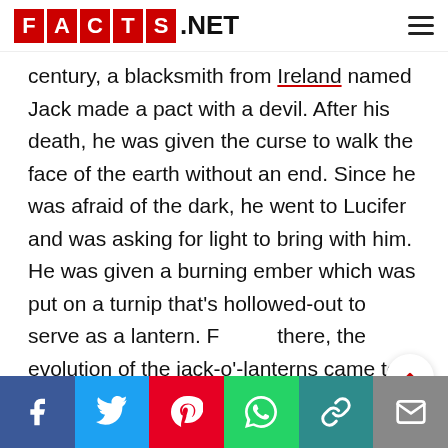FACTS.NET
century, a blacksmith from Ireland named Jack made a pact with a devil. After his death, he was given the curse to walk the face of the earth without an end. Since he was afraid of the dark, he went to Lucifer and was asking for light to bring with him. He was given a burning ember which was put on a turnip that's hollowed-out to serve as a lantern. F[rom] there, the evolution of the jack-o'-lanterns came to be.